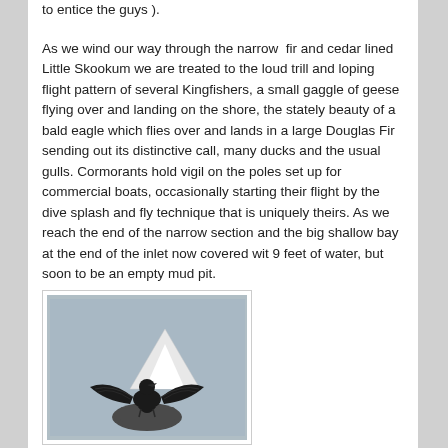to entice the guys ).
As we wind our way through the narrow  fir and cedar lined Little Skookum we are treated to the loud trill and loping flight pattern of several Kingfishers, a small gaggle of geese flying over and landing on the shore, the stately beauty of a bald eagle which flies over and lands in a large Douglas Fir sending out its distinctive call, many ducks and the usual gulls. Cormorants hold vigil on the poles set up for commercial boats, occasionally starting their flight by the dive splash and fly technique that is uniquely theirs. As we reach the end of the narrow section and the big shallow bay at the end of the inlet now covered wit 9 feet of water, but soon to be an empty mud pit.
[Figure (photo): A cormorant or similar water bird with wings spread wide, perched on a rocky surface, with a snow-capped mountain visible in the background against a grey sky.]